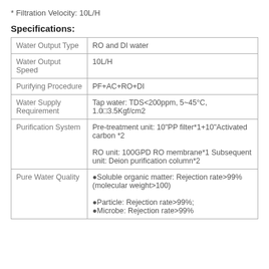* Filtration Velocity: 10L/H
Specifications:
| Property | Value |
| --- | --- |
| Water Output Type | RO and DI water |
| Water Output Speed | 10L/H |
| Purifying Procedure | PF+AC+RO+DI |
| Water Supply Requirement | Tap water: TDS<200ppm, 5~45°C, 1.0□3.5Kgf/cm2 |
| Purification System | Pre-treatment unit: 10"PP filter*1+10"Activated carbon *2

RO unit: 100GPD RO membrane*1 Subsequent unit: Deion purification column*2 |
| Pure Water Quality | ●Soluble organic matter: Rejection rate>99% (molecular weight>100)

●Particle: Rejection rate>99%;
●Microbe: Rejection rate>99% |